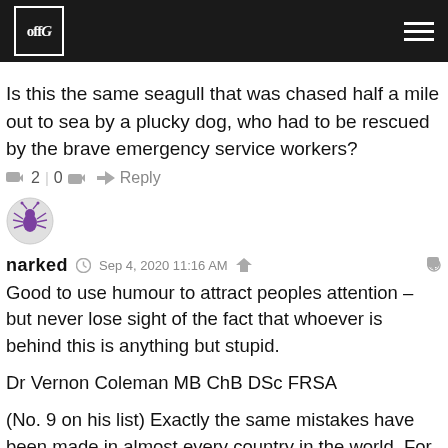offG
Is this the same seagull that was chased half a mile out to sea by a plucky dog, who had to be rescued by the brave emergency service workers?
👍 2 | 0 👎 ➜ Reply
[Figure (illustration): User avatar with spider/bug icon in purple on light grey circle background]
narked  Sep 4, 2020 11:16 AM
Good to use humour to attract peoples attention – but never lose sight of the fact that whoever is behind this is anything but stupid.
Dr Vernon Coleman MB ChB DSc FRSA
(No. 9 on his list) Exactly the same mistakes have been made in almost every country in the world. For example, sick old people were taken out of hospital and dumped in care homes – resulting